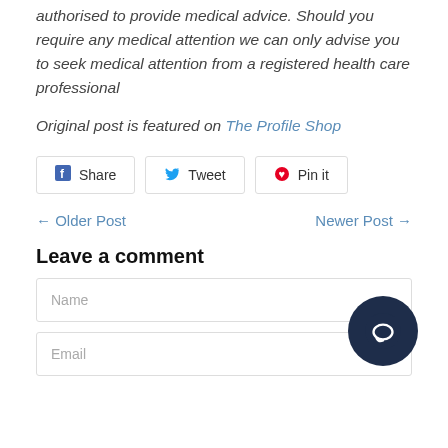authorised to provide medical advice. Should you require any medical attention we can only advise you to seek medical attention from a registered health care professional
Original post is featured on The Profile Shop
[Figure (other): Social sharing buttons: Share (Facebook), Tweet (Twitter), Pin it (Pinterest)]
← Older Post    Newer Post →
Leave a comment
Name (input field)
Email (input field)